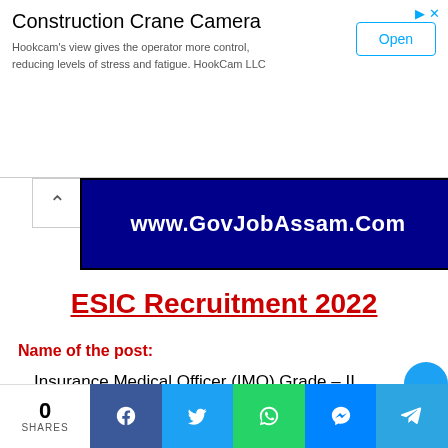[Figure (screenshot): Advertisement banner for Construction Crane Camera by HookCam LLC with Open button]
[Figure (logo): GovJobAssam.Com website logo banner in dark blue with white bold text and red circular emblem]
ESIC Recruitment 2022
Name of the post:
Insurance Medical Officer (IMO) Grade – II (Allopathic)
[Figure (infographic): Social sharing bar at bottom with 0 SHARES and icons for Facebook, Twitter, WhatsApp, Messenger, Telegram]